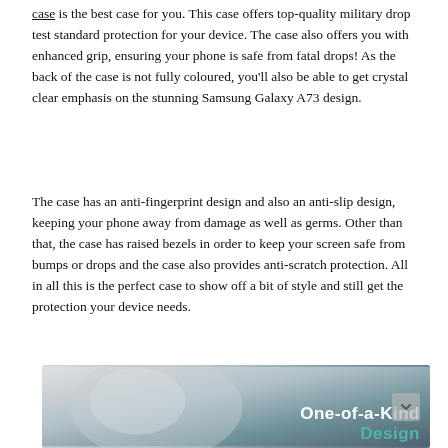case is the best case for you. This case offers top-quality military drop test standard protection for your device. The case also offers you with enhanced grip, ensuring your phone is safe from fatal drops! As the back of the case is not fully coloured, you'll also be able to get crystal clear emphasis on the stunning Samsung Galaxy A73 design.
The case has an anti-fingerprint design and also an anti-slip design, keeping your phone away from damage as well as germs. Other than that, the case has raised bezels in order to keep your screen safe from bumps or drops and the case also provides anti-scratch protection. All in all this is the perfect case to show off a bit of style and still get the protection your device needs.
[Figure (photo): Photo of a phone case with overlaid text reading 'One-of-a-Kind Design' in white and teal on a grey/blue background]